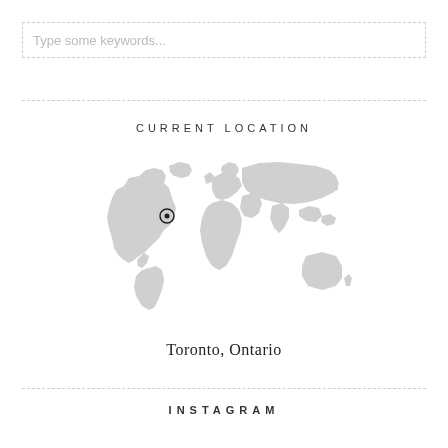Type some keywords...
CURRENT LOCATION
[Figure (map): World map in light gray with a location marker pin on Toronto, Ontario, Canada]
Toronto, Ontario
INSTAGRAM